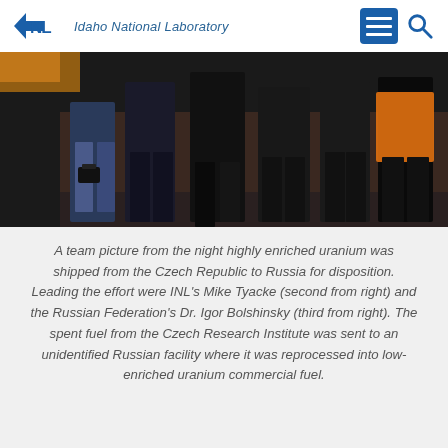INL Idaho National Laboratory
[Figure (photo): A group of people standing outdoors at night, one person wearing an orange high-visibility vest, others in dark winter coats, taken from the waist down on what appears to be a railway or industrial area.]
A team picture from the night highly enriched uranium was shipped from the Czech Republic to Russia for disposition. Leading the effort were INL's Mike Tyacke (second from right) and the Russian Federation's Dr. Igor Bolshinsky (third from right). The spent fuel from the Czech Research Institute was sent to an unidentified Russian facility where it was reprocessed into low-enriched uranium commercial fuel.